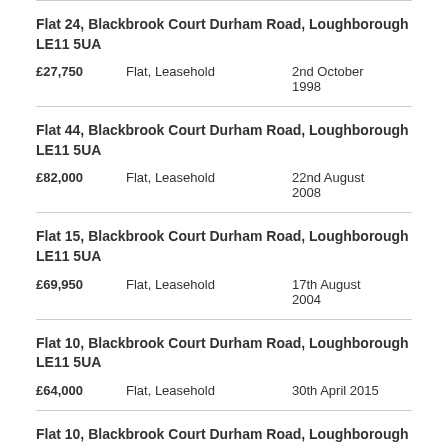Flat 24, Blackbrook Court Durham Road, Loughborough LE11 5UA
£27,750  Flat, Leasehold  2nd October 1998
Flat 44, Blackbrook Court Durham Road, Loughborough LE11 5UA
£82,000  Flat, Leasehold  22nd August 2008
Flat 15, Blackbrook Court Durham Road, Loughborough LE11 5UA
£69,950  Flat, Leasehold  17th August 2004
Flat 10, Blackbrook Court Durham Road, Loughborough LE11 5UA
£64,000  Flat, Leasehold  30th April 2015
Flat 10, Blackbrook Court Durham Road, Loughborough LE11